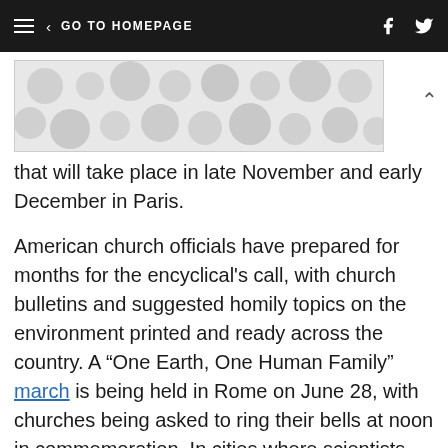≡ < GO TO HOMEPAGE
[Figure (other): Advertisement banner with grey polka dot/circle pattern background]
that will take place in late November and early December in Paris.
American church officials have prepared for months for the encyclical's call, with church bulletins and suggested homily topics on the environment printed and ready across the country. A “One Earth, One Human Family” march is being held in Rome on June 28, with churches being asked to ring their bells at noon in commemoration. In cities where scientists have predicted some of the worst outcomes of climate change and rising sea levels, such as